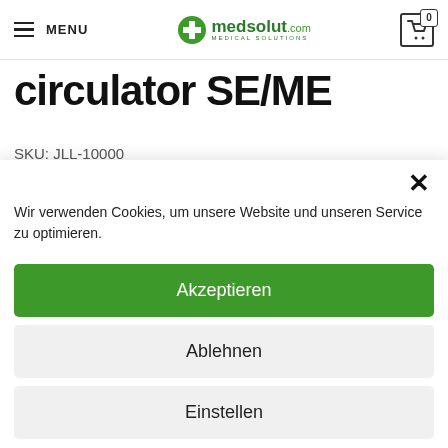MENU | medsolut.com MEDICAL SOLUTIONS | 0
circulator SE/ME
SKU: JLL-10000
×
Wir verwenden Cookies, um unsere Website und unseren Service zu optimieren.
Akzeptieren
Ablehnen
Einstellen
Cookie Directive  Privacy policy  Imprint